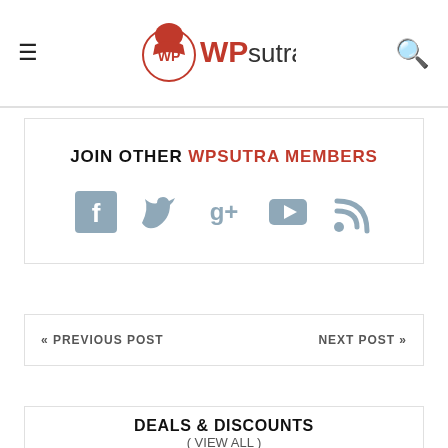WPsutra
JOIN OTHER WPSUTRA MEMBERS
[Figure (other): Social media icons: Facebook, Twitter, Google+, YouTube, RSS feed]
« PREVIOUS POST    NEXT POST »
DEALS & DISCOUNTS
( VIEW ALL )